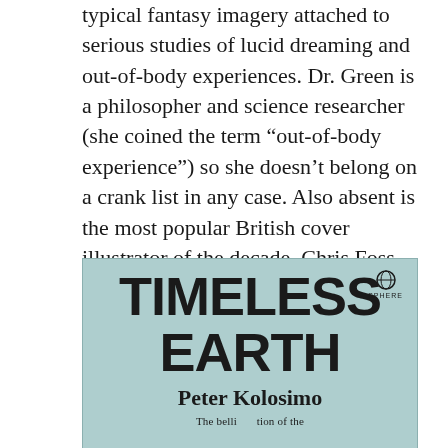typical fantasy imagery attached to serious studies of lucid dreaming and out-of-body experiences. Dr. Green is a philosopher and science researcher (she coined the term “out-of-body experience”) so she doesn’t belong on a crank list in any case. Also absent is the most popular British cover illustrator of the decade, Chris Foss, who would have been too busy working through his fiction commissions and creating designs for feature films.
[Figure (photo): Book cover of 'Timeless Earth' by Peter Kolosimo, published by Sphere. The cover has a light teal/cyan background with large bold black uppercase text reading 'TIMELESS EARTH', the author name 'Peter Kolosimo' in bold serif font, and a Sphere publisher logo in the top right corner. The bottom of the image shows the beginning of a subtitle line.]